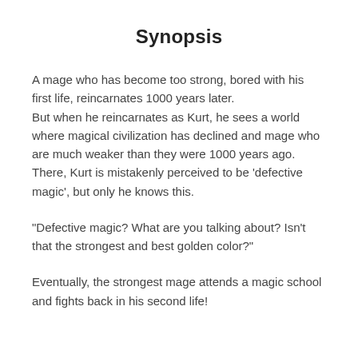Synopsis
A mage who has become too strong, bored with his first life, reincarnates 1000 years later.
But when he reincarnates as Kurt, he sees a world where magical civilization has declined and mage who are much weaker than they were 1000 years ago.
There, Kurt is mistakenly perceived to be 'defective magic', but only he knows this.
“Defective magic? What are you talking about? Isn’t that the strongest and best golden color?”
Eventually, the strongest mage attends a magic school and fights back in his second life!